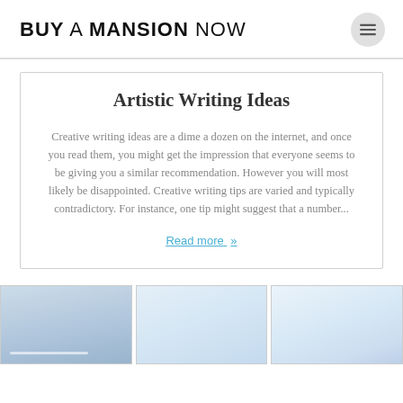BUY A MANSION NOW
Artistic Writing Ideas
Creative writing ideas are a dime a dozen on the internet, and once you read them, you might get the impression that everyone seems to be giving you a similar recommendation. However you will most likely be disappointed. Creative writing tips are varied and typically contradictory. For instance, one tip might suggest that a number...
Read more »
[Figure (photo): Three partially visible thumbnail images in a row showing light blue/sky tones, appearing to be article preview images at the bottom of the page.]